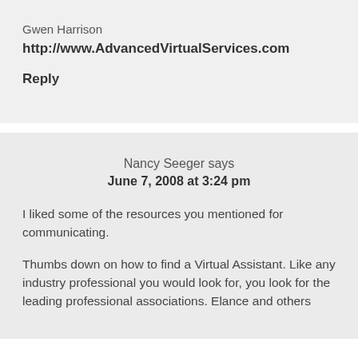Gwen Harrison
http://www.AdvancedVirtualServices.com
Reply
Nancy Seeger says
June 7, 2008 at 3:24 pm
I liked some of the resources you mentioned for communicating.
Thumbs down on how to find a Virtual Assistant. Like any industry professional you would look for, you look for the leading professional associations. Elance and others